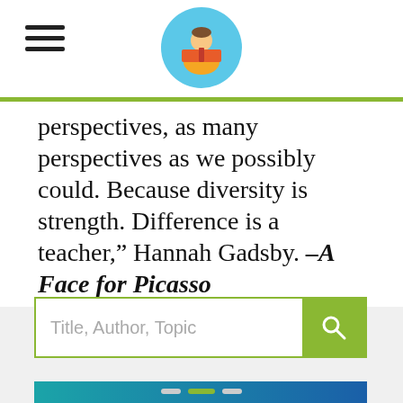Header with hamburger menu and reading boy logo
perspectives, as many perspectives as we possibly could. Because diversity is strength. Difference is a teacher," Hannah Gadsby. –A Face for Picasso
[Figure (screenshot): Search bar with placeholder 'Title, Author, Topic' and green search button with magnifying glass icon]
[Figure (infographic): Amazon Kids+ advertisement banner: Watch. Play. Read. Li... 1-year subscription $48 $2...]
[Figure (other): Navigation dots at bottom, with active olive/green dot in center]